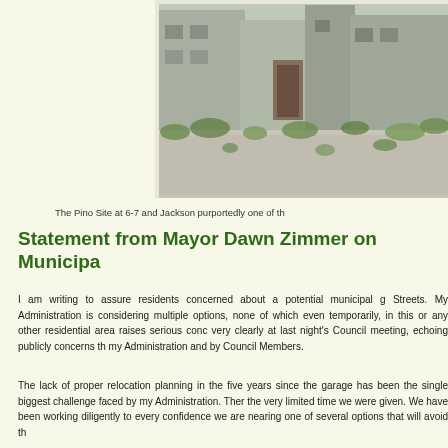[Figure (photo): Photograph of the Pino Site at 6-7 and Jackson, showing an abandoned lot with gravel ground, overgrown weeds, and dilapidated concrete block buildings in the background.]
The Pino Site at 6-7 and Jackson purportedly one of th
Statement from Mayor Dawn Zimmer on Municipa
I am writing to assure residents concerned about a potential municipal g Streets. My Administration is considering multiple options, none of which even temporarily, in this or any other residential area raises serious conc very clearly at last night's Council meeting, echoing publicly concerns th my Administration and by Council Members.
The lack of proper relocation planning in the five years since the garage has been the single biggest challenge faced by my Administration. Ther the very limited time we were given. We have been working diligently to every confidence we are nearing one of several options that will avoid th